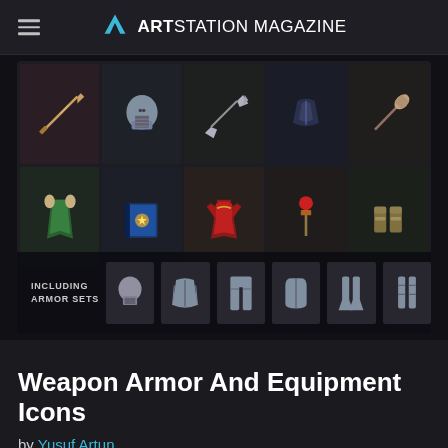ARTSTATION MAGAZINE
[Figure (illustration): A grid of fantasy RPG weapon, armor, and equipment icons on dark backgrounds. Top row shows: sword, knight helmet, throwing axes, chest armor/cloak, war hammer/mace. Second row shows: green fur-trimmed cloak, ornate blue spellbook, red mage robe, red-topped staff/scepter, golden gauntlets. Bottom bar shows armor set pieces: helmet, chest piece, pants/leggings, gloves, boots/greaves, leg armor. Text overlay reads 'INCLUDING ARMOR SETS'.]
Weapon Armor And Equipment Icons
by Yusuf Artun
In this set of 165 icons you'll find armor sets, various types of weapons, handheld items, and fantasy equipment such as cloaks and jewelry.